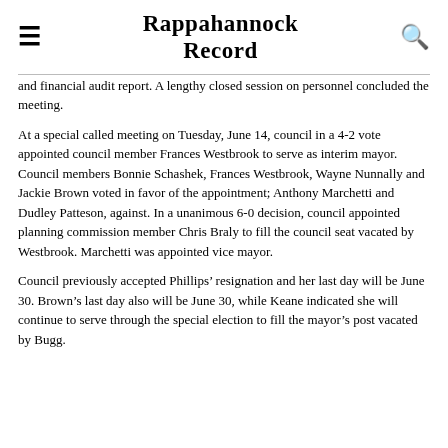Rappahannock Record
and financial audit report. A lengthy closed session on personnel concluded the meeting.
At a special called meeting on Tuesday, June 14, council in a 4-2 vote appointed council member Frances Westbrook to serve as interim mayor. Council members Bonnie Schashek, Frances Westbrook, Wayne Nunnally and Jackie Brown voted in favor of the appointment; Anthony Marchetti and Dudley Patteson, against. In a unanimous 6-0 decision, council appointed planning commission member Chris Braly to fill the council seat vacated by Westbrook. Marchetti was appointed vice mayor.
Council previously accepted Phillips’ resignation and her last day will be June 30. Brown’s last day also will be June 30, while Keane indicated she will continue to serve through the special election to fill the mayor’s post vacated by Bugg.